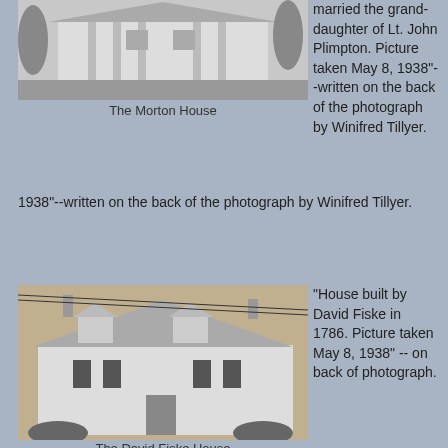[Figure (photo): Black and white photograph of the Morton House, a white colonial-style building with columns and trees.]
The Morton House
married the grand-daughter of Lt. John Plimpton.  Picture taken May 8, 1938"--written on the back of the photograph by Winifred Tillyer.
[Figure (photo): Sepia-toned photograph of the David Fiske House, a two-story colonial house with dormers and shutters.]
The David Fiske House
"House built by David Fiske in 1786.  Picture taken May 8, 1938" -- on back of photograph.